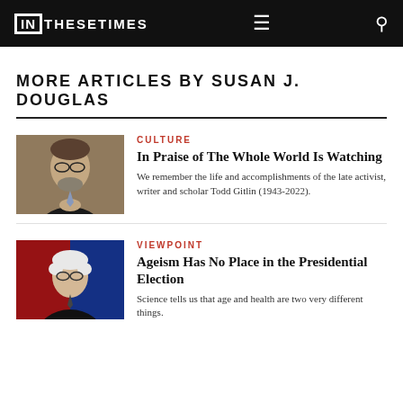IN THESE TIMES
MORE ARTICLES BY SUSAN J. DOUGLAS
[Figure (photo): Photo of man in suit with clasped hands, looking upward]
CULTURE
In Praise of The Whole World Is Watching
We remember the life and accomplishments of the late activist, writer and scholar Todd Gitlin (1943-2022).
[Figure (photo): Photo of elderly man at podium against red and blue background]
VIEWPOINT
Ageism Has No Place in the Presidential Election
Science tells us that age and health are two very different things.